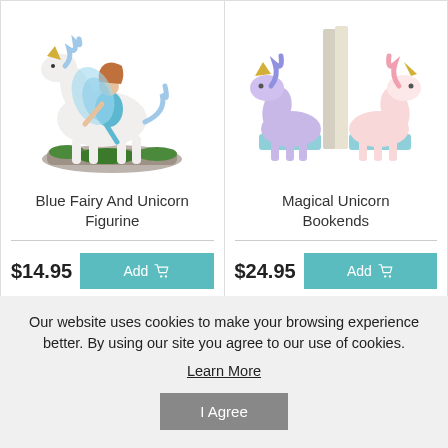[Figure (photo): Blue fairy riding a white unicorn figurine, colorful fantasy collectible]
[Figure (photo): Magical unicorn bookends set, one purple and one pink unicorn head]
Blue Fairy And Unicorn Figurine
Magical Unicorn Bookends
$14.95
$24.95
Our website uses cookies to make your browsing experience better. By using our site you agree to our use of cookies. Learn More
I Agree